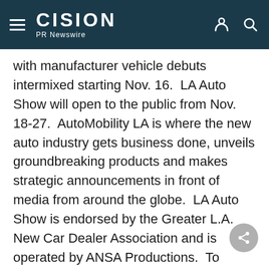CISION PR Newswire
with manufacturer vehicle debuts intermixed starting Nov. 16.  LA Auto Show will open to the public from Nov. 18-27.  AutoMobility LA is where the new auto industry gets business done, unveils groundbreaking products and makes strategic announcements in front of media from around the globe.  LA Auto Show is endorsed by the Greater L.A. New Car Dealer Association and is operated by ANSA Productions.  To receive the latest show news and information, follow LA Auto Show on Twitter at twitter.com/LAAutoShow or via Facebook at facebook.com/LAAutoShow and sign up for alerts at http://www.laautoshow.com/.  For more information about AutoMobility LA, please http://www.automobilityla.com.